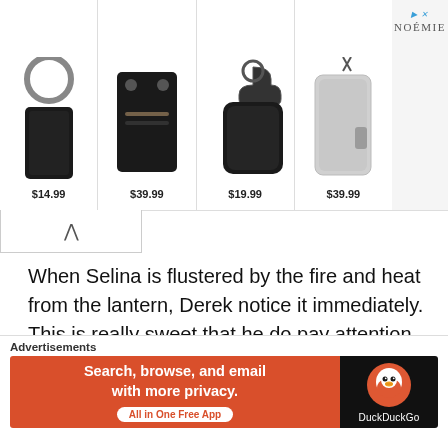[Figure (screenshot): Advertisement banner showing 4 leather products with prices: $14.99 keychain, $39.99 card holder, $19.99 AirPods case, $39.99 phone case. Brand NOÉMIE shown top right with navigation arrows and close button.]
When Selina is flustered by the fire and heat from the lantern, Derek notice it immediately. This is really sweet that he do pay attention to the smallest details and her.
The Jen sisters double date trip to Yunnan. The
[Figure (screenshot): DuckDuckGo advertisement banner. Left side orange background: 'Search, browse, and email with more privacy. All in One Free App'. Right side black background with DuckDuckGo duck logo and 'DuckDuckGo' text. Labeled 'Advertisements' above.]